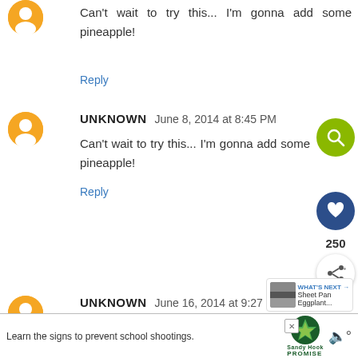Can't wait to try this... I'm gonna add some pineapple!
Reply
UNKNOWN June 8, 2014 at 8:45 PM
Can't wait to try this... I'm gonna add some pineapple!
Reply
UNKNOWN June 16, 2014 at 9:27 PM
Love this! When I have left over hash; I will heat up & have with a fried egg fr
Learn the signs to prevent school shootings.